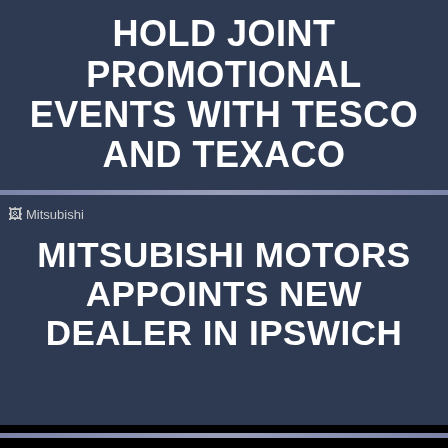HOLD JOINT PROMOTIONAL EVENTS WITH TESCO AND TEXACO
[Figure (logo): Mitsubishi logo image]
MITSUBISHI MOTORS APPOINTS NEW DEALER IN IPSWICH